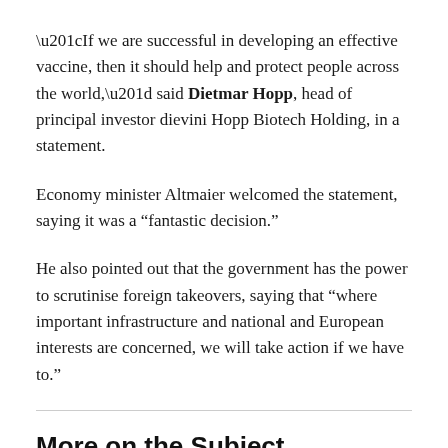“If we are successful in developing an effective vaccine, then it should help and protect people across the world,” said Dietmar Hopp, head of principal investor dievini Hopp Biotech Holding, in a statement.
Economy minister Altmaier welcomed the statement, saying it was a “fantastic decision.”
He also pointed out that the government has the power to scrutinise foreign takeovers, saying that “where important infrastructure and national and European interests are concerned, we will take action if we have to.”
More on the Subject